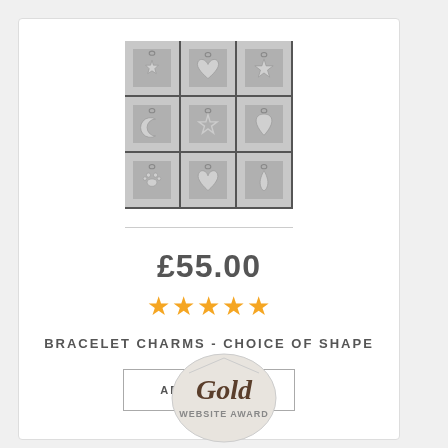[Figure (photo): 3x3 grid of silver bracelet charms in various shapes including stars, hearts, moons, paw prints, and leaves]
£55.00
[Figure (other): Five gold star rating icons]
BRACELET CHARMS - CHOICE OF SHAPE
ADD TO CART
[Figure (logo): Gold Website Award badge - circular badge with 'Gold' in script and 'WEBSITE AWARD' text below]